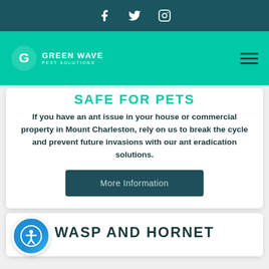Green Wave Pest Solutions — social icons header (Facebook, Twitter, Instagram)
[Figure (logo): Green Wave Pest Solutions logo with teal navigation bar and hamburger menu]
SAFE FOR PETS (partially visible)
If you have an ant issue in your house or commercial property in Mount Charleston, rely on us to break the cycle and prevent future invasions with our ant eradication solutions.
More Information
WASP AND HORNET (partially visible)
[Figure (illustration): Blue circular accessibility icon button (person with arms raised in circle)]